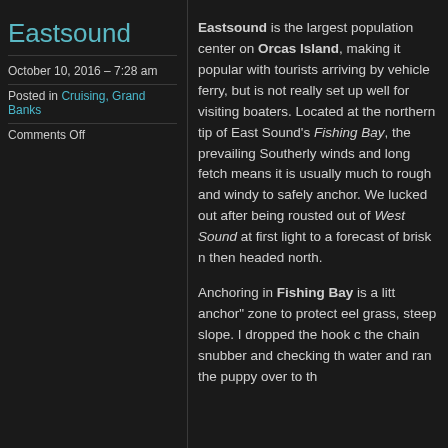Eastsound
October 10, 2016 – 7:28 am
Posted in Cruising, Grand Banks
Comments Off
Eastsound is the largest population center on Orcas Island, making it popular with tourists arriving by vehicle ferry, but is not really set up well for visiting boaters. Located at the northern tip of East Sound's Fishing Bay, the prevailing Southerly winds and long fetch means it is usually much to rough and windy to safely anchor. We lucked out after being rousted out of West Sound at first light to a forecast of brisk n then headed north.
Anchoring in Fishing Bay is a litt anchor" zone to protect eel grass, steep slope. I dropped the hook c the chain snubber and checking th water and ran the puppy over to th